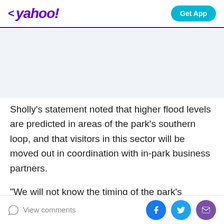< yahoo! | Get App
[Figure (other): Advertisement banner placeholder area with light blue-gray background]
Sholly's statement noted that higher flood levels are predicted in areas of the park's southern loop, and that visitors in this sector will be moved out in coordination with in-park business partners.
"We will not know the timing of the park's reopening until flood waters subside and we're able to assess the damage throughout the park," Sholly said. "It is likely that the northern loop will be closed for a substantial amount
View comments | Facebook | Twitter | Email